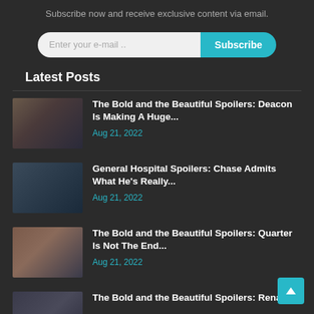Subscribe now and receive exclusive content via email.
[Figure (other): Email subscription form with input field and Subscribe button]
Latest Posts
The Bold and the Beautiful Spoilers: Deacon Is Making A Huge... | Aug 21, 2022
General Hospital Spoilers: Chase Admits What He's Really... | Aug 21, 2022
The Bold and the Beautiful Spoilers: Quarter Is Not The End... | Aug 21, 2022
The Bold and the Beautiful Spoilers: Rena S... | Aug 21, 2022